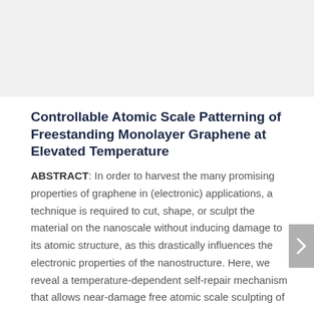[Figure (photo): Top banner image area, light gray background, likely a microscopy or graphene-related image cropped at top of page]
Controllable Atomic Scale Patterning of Freestanding Monolayer Graphene at Elevated Temperature
ABSTRACT: In order to harvest the many promising properties of graphene in (electronic) applications, a technique is required to cut, shape, or sculpt the material on the nanoscale without inducing damage to its atomic structure, as this drastically influences the electronic properties of the nanostructure. Here, we reveal a temperature-dependent self-repair mechanism that allows near-damage free atomic scale sculpting of